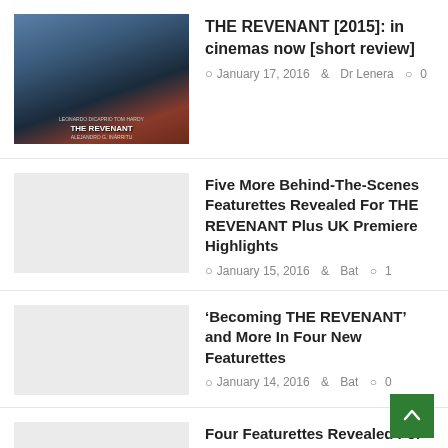[Figure (photo): The Revenant 2015 movie poster showing Leonardo DiCaprio in a fur coat with snowy background and title text]
THE REVENANT [2015]: in cinemas now [short review]
January 17, 2016   Dr Lenera   0
[Figure (photo): Placeholder thumbnail image (light grey box)]
Five More Behind-The-Scenes Featurettes Revealed For THE REVENANT Plus UK Premiere Highlights
January 15, 2016   Bat   1
[Figure (photo): Placeholder thumbnail image (light grey box)]
‘Becoming THE REVENANT’ and More In Four New Featurettes
January 14, 2016   Bat   0
[Figure (photo): Placeholder thumbnail image (light grey box)]
Four Featurettes Revealed For THE REVENANT